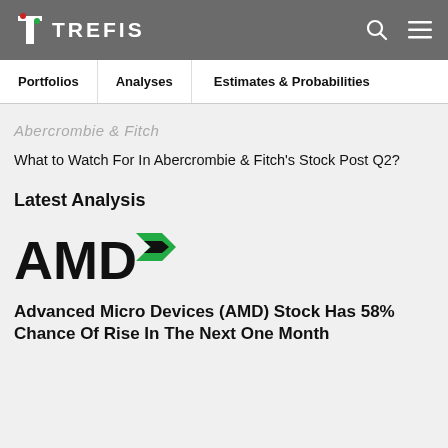TREFIS
Portfolios   Analyses   Estimates & Probabilities
[Figure (logo): Abercrombie & Fitch logo in gray italic text]
What to Watch For In Abercrombie & Fitch's Stock Post Q2?
Latest Analysis
[Figure (logo): AMD logo — black bold AMD text with green arrow icon]
Advanced Micro Devices (AMD) Stock Has 58% Chance Of Rise In The Next One Month